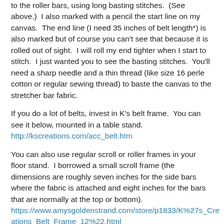to the roller bars, using long basting stitches.  (See above.)  I also marked with a pencil the start line on my canvas.  The end line (I need 35 inches of belt length*) is also marked but of course you can't see that because it is rolled out of sight.  I will roll my end tighter when I start to stitch.  I just wanted you to see the basting stitches.  You'll need a sharp needle and a thin thread (like size 16 perle cotton or regular sewing thread) to baste the canvas to the stretcher bar fabric.
If you do a lot of belts, invest in K's belt frame.  You can see it below, mounted in a table stand.
http://kscreations.com/acc_belt.htm
You can also use regular scroll or roller frames in your floor stand.  I borrowed a small scroll frame (the dimensions are roughly seven inches for the side bars where the fabric is attached and eight inches for the bars that are normally at the top or bottom).
https://www.amysgoldenstrand.com/store/p1833/K%27s_Creations_Belt_Frame_12%22.html
Some folks also stitch belts in hand, rolling each end and